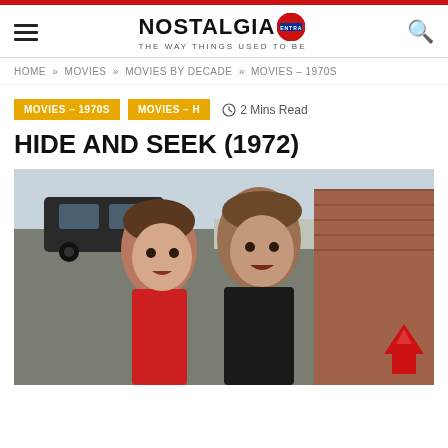Nostalgia Central - The Way Things Used To Be
HOME » MOVIES » MOVIES BY DECADE » MOVIES – 1970S
MOVIES – 1970S   MOVIES – H   2 Mins Read
HIDE AND SEEK (1972)
[Figure (photo): Two children (a girl and a boy) looking startled, photographed outdoors with a black car and brick wall in background. 1970s British film scene.]